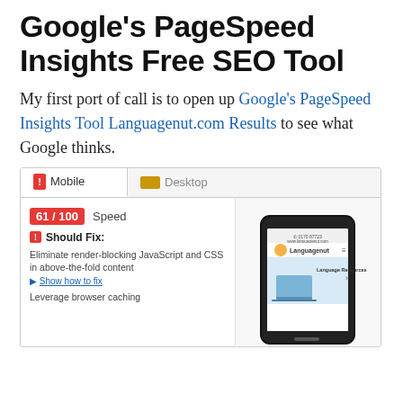Google's PageSpeed Insights Free SEO Tool
My first port of call is to open up Google's PageSpeed Insights Tool Languagenut.com Results to see what Google thinks.
[Figure (screenshot): Screenshot of Google PageSpeed Insights tool showing Mobile tab selected, score of 61/100 Speed in red, Should Fix section with 'Eliminate render-blocking JavaScript and CSS in above-the-fold content' and 'Show how to fix' link, 'Leverage browser caching' text, and a phone device preview on the right showing the Languagenut website with Language Resources section visible.]